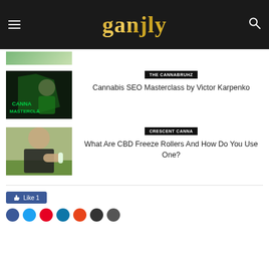ganjly
[Figure (photo): Partially visible thumbnail image at top, cropped green/nature scene]
[Figure (photo): Man wearing green Cannabis Masterclass shirt/promotional image with dark background]
THE CANNABRUHZ
Cannabis SEO Masterclass by Victor Karpenko
[Figure (photo): Woman applying CBD freeze roller to her arm outdoors]
CRESCENT CANNA
What Are CBD Freeze Rollers And How Do You Use One?
Like 1